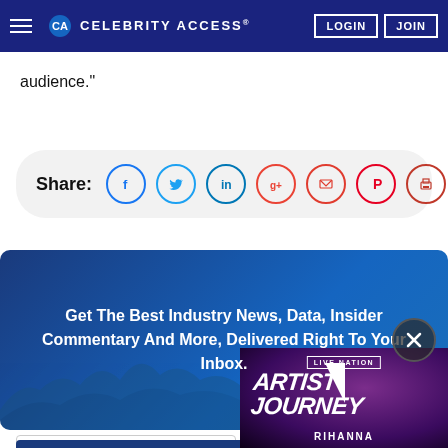CELEBRITYACCESS® | LOGIN | JOIN
audience."
[Figure (infographic): Social share bar with icons for Facebook, Twitter, LinkedIn, Google+, Email, Pinterest, Print]
Get The Best Industry News, Data, Insider Commentary And More, Delivered Right To Your Inbox.
[Figure (screenshot): Live Nation Artist Journey - Rihanna promotional overlay thumbnail]